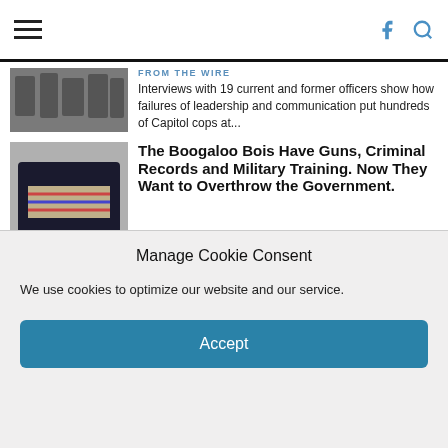Navigation bar with hamburger menu, Facebook icon, and search icon
FROM THE WIRE
Interviews with 19 current and former officers show how failures of leadership and communication put hundreds of Capitol cops at...
The Boogaloo Bois Have Guns, Criminal Records and Military Training. Now They Want to Overthrow the Government.
FROM THE WIRE
ProPublica and FRONTLINE have identified more than twenty members with ties to the armed forces. by A.C. Thompson, ProPublica, and...
ProPublica and The Pudding offer scholarships to help pay for your
Manage Cookie Consent
We use cookies to optimize our website and our service.
Accept